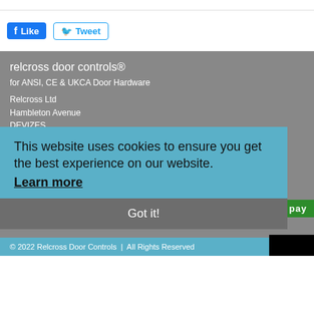[Figure (screenshot): Facebook Like button (blue) and Twitter Tweet button (white with blue border and bird icon)]
relcross door controls®
for ANSI, CE & UKCA Door Hardware
Relcross Ltd
Hambleton Avenue
DEVIZES
Wiltshire
SN10 2RT
United Kingdom
T: ++ 44 (0) 1380 729600
E: ...
our payment details · secure transactions
Glynn Johnson | Hager | Ives | Keylex | LCN | Markar | Pemko | Schlage | Securitron | Von Duprin
This website uses cookies to ensure you get the best experience on our website.
Learn more
Got it!
© 2022 Relcross Door Controls | All Rights Reserved